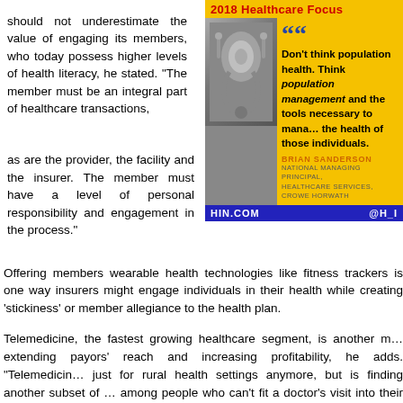should not underestimate the value of engaging its members, who today possess higher levels of health literacy, he stated. “The member must be an integral part of healthcare transactions, as are the provider, the facility and the insurer. The member must have a level of personal responsibility and engagement in the process.”
[Figure (infographic): 2018 Healthcare Focus pull quote box with stethoscope photo. Quote: Don’t think population health. Think population management and the tools necessary to manage the health of those individuals. By Brian Sanderson, National Managing Principal, Healthcare Services, Crowe Horwath. HIN.COM @H_I]
Offering members wearable health technologies like fitness trackers is one way insurers might engage individuals in their health while creating ‘stickiness’ or member allegiance to the health plan.
Telemedicine, the fastest growing healthcare segment, is another method for extending payors’ reach and increasing profitability, he adds. “Telemedicine is not just for rural health settings anymore, but is finding another subset of patients among people who can’t fit a doctor’s visit into their busy schedule.”
Payors should expect some competition in this area. “I believe the next [threat to telehealth] will be hospitals expanding into local telehealth services as a loss leader to their local clinics,” Buchanan predicted.
The use of artificial intelligence (AI) and robotics in healthcare is growing, though Buchanan and Sanderson agree that adoption will be slow. On the other hand, expect more collaboration between digital players like Amazon, Google and Microsoft and larger health plans.